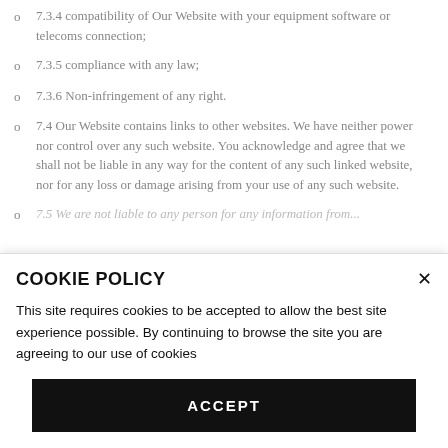7.3.4 compatibility of Our Website with your equipment software or telecoms connection;
7.3.5 compliance with any law;
7.3.6 Non-infringement of any right.
7.4 Our Website contains links to other websites. We have neither power nor control over any such website. You acknowledge and agree that we shall not be liable in any way for the content of any such linked website, nor for any loss or damage arising from your use of any such website.
COOKIE POLICY
This site requires cookies to be accepted to allow the best site experience possible. By continuing to browse the site you are agreeing to our use of cookies
ACCEPT